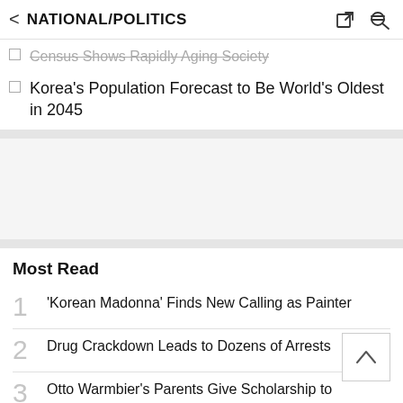NATIONAL/POLITICS
Census Shows Rapidly Aging Society
Korea's Population Forecast to Be World's Oldest in 2045
Most Read
1  'Korean Madonna' Finds New Calling as Painter
2  Drug Crackdown Leads to Dozens of Arrests
3  Otto Warmbier's Parents Give Scholarship to N Korean Defector